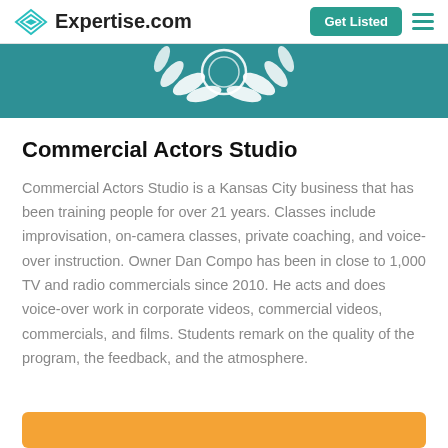Expertise.com | Get Listed
[Figure (illustration): Teal banner with white laurel wreath emblem partially visible at top]
Commercial Actors Studio
Commercial Actors Studio is a Kansas City business that has been training people for over 21 years. Classes include improvisation, on-camera classes, private coaching, and voice-over instruction. Owner Dan Compo has been in close to 1,000 TV and radio commercials since 2010. He acts and does voice-over work in corporate videos, commercial videos, commercials, and films. Students remark on the quality of the program, the feedback, and the atmosphere.
[Figure (other): Orange button partially visible at bottom of page]